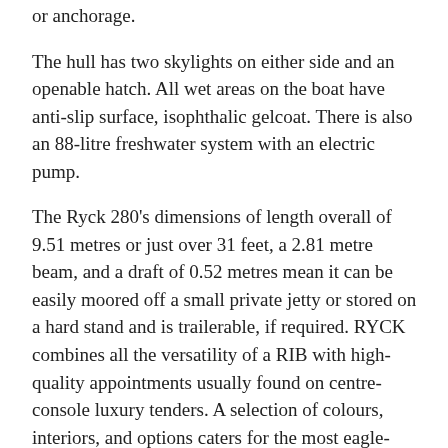or anchorage.
The hull has two skylights on either side and an openable hatch. All wet areas on the boat have anti-slip surface, isophthalic gelcoat. There is also an 88-litre freshwater system with an electric pump.
The Ryck 280's dimensions of length overall of 9.51 metres or just over 31 feet, a 2.81 metre beam, and a draft of 0.52 metres mean it can be easily moored off a small private jetty or stored on a hard stand and is trailerable, if required. RYCK combines all the versatility of a RIB with high-quality appointments usually found on centre-console luxury tenders. A selection of colours, interiors, and options caters for the most eagle-eyed boat owner.
Windcraft Yachts, the exclusive importer of RYCK in Australia and New Zealand, has a demonstrator ready for trial. Pricing starts from $250,000 including T...